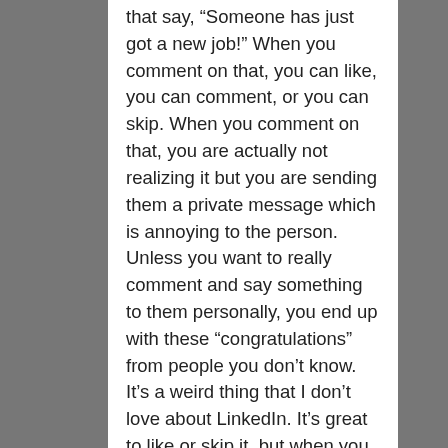that say, “Someone has just got a new job!” When you comment on that, you can like, you can comment, or you can skip. When you comment on that, you are actually not realizing it but you are sending them a private message which is annoying to the person. Unless you want to really comment and say something to them personally, you end up with these “congratulations” from people you don’t know. It’s a weird thing that I don’t love about LinkedIn. It’s great to like or skip it, but when you comment on it, make sure you have something to say to that person personally, because it really is going to their personal messaging.